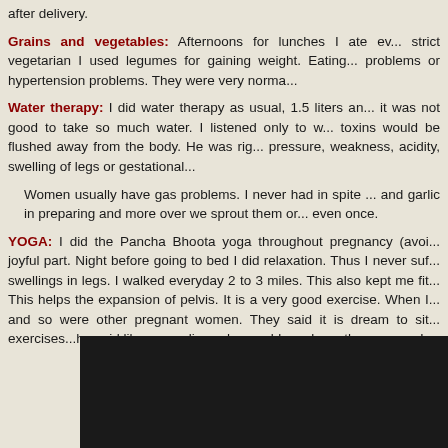after delivery.
Grains and vegetables: Afternoons for lunches I ate ev... strict vegetarian I used legumes for gaining weight. Eating... problems or hypertension problems. They were very norma...
Water therapy: I did water therapy as usual, 1.5 liters an... it was not good to take so much water. I listened only to w... toxins would be flushed away from the body. He was rig... pressure, weakness, acidity, swelling of legs or gestational...
Women usually have gas problems. I never had in spite ... and garlic in preparing and more over we sprout them or... even once.
YOGA: I did the Pancha Bhoota yoga throughout pregnancy (avoi... joyful part. Night before going to bed I did relaxation. Thus I never suf... swellings in legs. I walked everyday 2 to 3 miles. This also kept me fit... This helps the expansion of pelvis. It is a very good exercise. When I... and so were other pregnant women. They said it is dream to sit... exercises...he said like a sea diver who would go above the waves....I...
[Figure (photo): Dark/black image at the bottom of the page, partially visible]